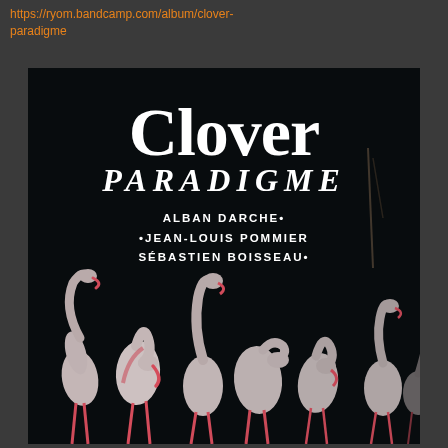https://ryom.bandcamp.com/album/clover-paradigme
[Figure (illustration): Album cover for 'Clover - Paradigme' by Alban Darche, Jean-Louis Pommier, Sébastien Boisseau. Dark background with multiple flamingos in the lower portion. White serif text displays 'Clover' in large letters, 'PARADIGME' in italic caps below, followed by artist names: 'ALBAN DARCHE', 'JEAN-LOUIS POMMIER', 'SÉBASTIEN BOISSEAU'.]